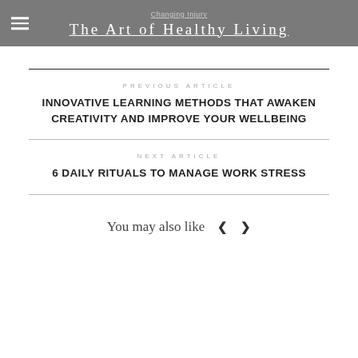Changing Injury | The Art of Healthy Living
PREVIOUS ARTICLE
INNOVATIVE LEARNING METHODS THAT AWAKEN CREATIVITY AND IMPROVE YOUR WELLBEING
NEXT ARTICLE
6 DAILY RITUALS TO MANAGE WORK STRESS
You may also like